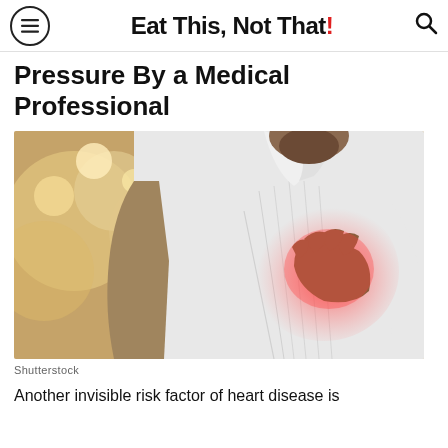Eat This, Not That!
Pressure By a Medical Professional
[Figure (photo): Man in white shirt clutching his chest with a red highlight indicating heart pain, blurred restaurant background]
Shutterstock
Another invisible risk factor of heart disease is